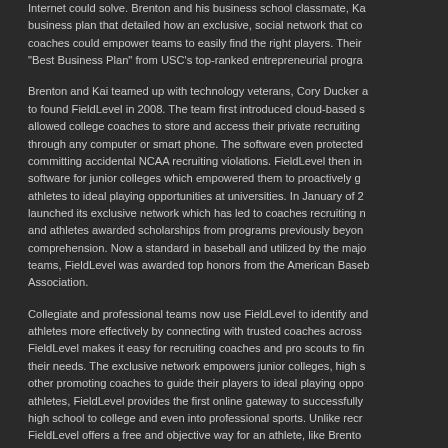Internet could solve. Brenton and his business school classmate, Ka business plan that detailed how an exclusive, social network that co coaches could empower teams to easily find the right players. Their "Best Business Plan" from USC's top-ranked entrepreneurial progra
Brenton and Kai teamed up with technology veterans, Cory Ducker a to found FieldLevel in 2008. The team first introduced cloud-based s allowed college coaches to store and access their private recruiting through any computer or smart phone. The software even protected committing accidental NCAA recruiting violations. FieldLevel then i software for junior colleges which empowered them to proactively g athletes to ideal playing opportunities at universities. In January of 2 launched its exclusive network which has led to coaches recruiting n and athletes awarded scholarships from programs previously beyon comprehension. Now a standard in baseball and utilized by the majo teams, FieldLevel was awarded top honors from the American Baseb Association.
Collegiate and professional teams now use FieldLevel to identify an athletes more effectively by connecting with trusted coaches across FieldLevel makes it easy for recruiting coaches and pro scouts to fin their needs. The exclusive network empowers junior colleges, high s other promoting coaches to guide their players to ideal playing oppo athletes, FieldLevel provides the first online gateway to successfully high school to college and even into professional sports. Unlike recr FieldLevel offers a free and objective way for an athlete, like Brento successfully navigate their athletic careers.